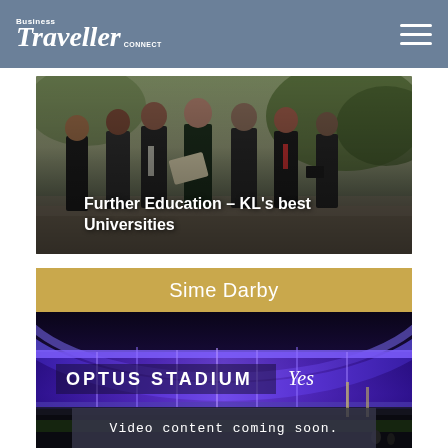Business Traveller Connect
[Figure (photo): Group of students in formal/business attire walking outdoors, carrying folders and bags. Overlaid text: Further Education – KL's best Universities]
Further Education – KL's best Universities
Sime Darby
[Figure (photo): Night photo of Optus Stadium lit in purple/blue lighting with 'OPTUS STADIUM Yes' signage visible. Overlay text: Video content coming soon.]
Video content coming soon.